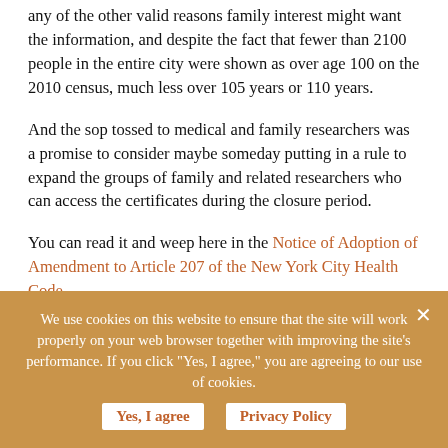any of the other valid reasons family interest might want the information, and despite the fact that fewer than 2100 people in the entire city were shown as over age 100 on the 2010 census, much less over 105 years or 110 years.
And the sop tossed to medical and family researchers was a promise to consider maybe someday putting in a rule to expand the groups of family and related researchers who can access the certificates during the closure period.
You can read it and weep here in the Notice of Adoption of Amendment to Article 207 of the New York City Health Code.
There's no call to action for our community at this
We use cookies on this website to ensure that the site will work properly on your web browser together with improving the site's performance. If you click "Yes, I agree," you are agreeing to our use of cookies.